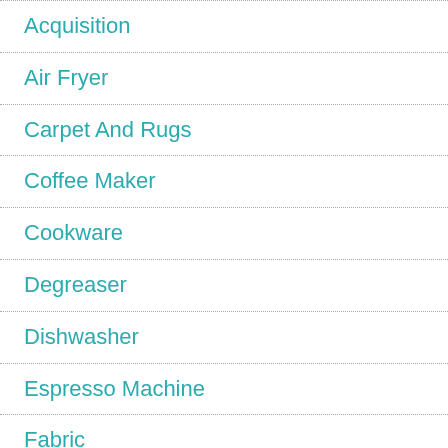Acquisition
Air Fryer
Carpet And Rugs
Coffee Maker
Cookware
Degreaser
Dishwasher
Espresso Machine
Fabric
Flooring
Garba...